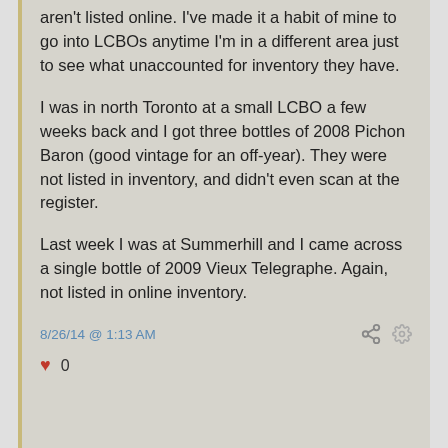aren't listed online. I've made it a habit of mine to go into LCBOs anytime I'm in a different area just to see what unaccounted for inventory they have.
I was in north Toronto at a small LCBO a few weeks back and I got three bottles of 2008 Pichon Baron (good vintage for an off-year). They were not listed in inventory, and didn't even scan at the register.
Last week I was at Summerhill and I came across a single bottle of 2009 Vieux Telegraphe. Again, not listed in online inventory.
8/26/14 @ 1:13 AM
0